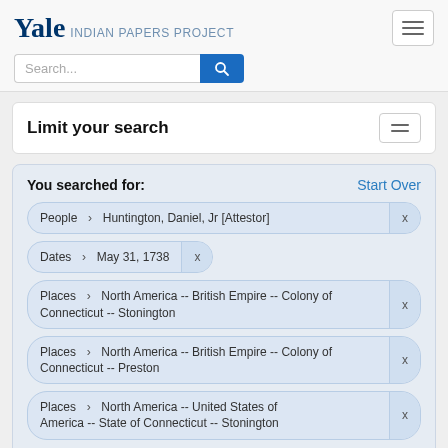Yale INDIAN PAPERS PROJECT
Search...
Limit your search
You searched for:
People > Huntington, Daniel, Jr [Attestor] x
Dates > May 31, 1738 x
Places > North America -- British Empire -- Colony of Connecticut -- Stonington x
Places > North America -- British Empire -- Colony of Connecticut -- Preston x
Places > North America -- United States of America -- State of Connecticut -- Stonington x